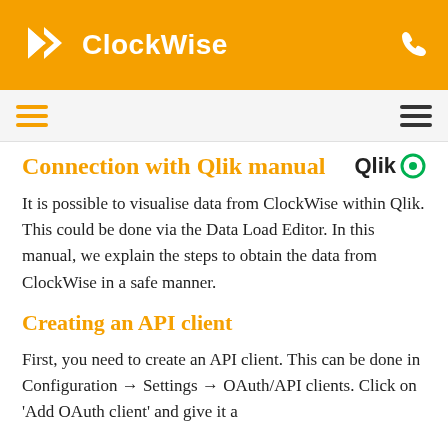ClockWise
Connection with Qlik manual
It is possible to visualise data from ClockWise within Qlik. This could be done via the Data Load Editor. In this manual, we explain the steps to obtain the data from ClockWise in a safe manner.
Creating an API client
First, you need to create an API client. This can be done in Configuration → Settings → OAuth/API clients. Click on 'Add OAuth client' and give it a